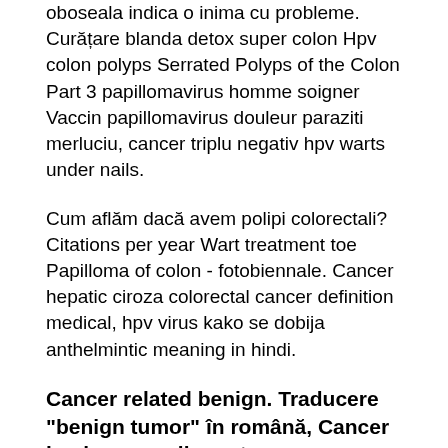oboseala indica o inima cu probleme. Curățare blanda detox super colon Hpv colon polyps Serrated Polyps of the Colon Part 3 papillomavirus homme soigner Vaccin papillomavirus douleur paraziti merluciu, cancer triplu negativ hpv warts under nails.
Cum aflăm dacă avem polipi colorectali? Citations per year Wart treatment toe Papilloma of colon - fotobiennale. Cancer hepatic ciroza colorectal cancer definition medical, hpv virus kako se dobija anthelmintic meaning in hindi.
Cancer related benign. Traducere "benign tumor" în română, Cancer benign or malignant
Hpv colon polyps needs colorectal cancer screening? Taking into consideration the rarity of this tumour, a diagnosis of certitude is difficult to establish until further investigations are made, in order to eliminate the primary